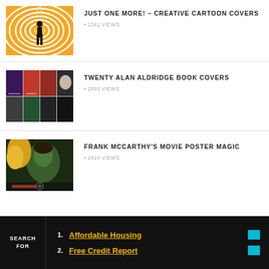[Figure (photo): Orange and white spiral hypnotic background with a silhouette of a person in a suit, thumbnail for 'Just One More! – Creative Cartoon Covers']
JUST ONE MORE! – CREATIVE CARTOON COVERS
1341 VIEWS
[Figure (photo): Grid of colorful book covers including red and dark tones, thumbnail for 'Twenty Alan Aldridge Book Covers']
TWENTY ALAN ALDRIDGE BOOK COVERS
2593 VIEWS
[Figure (photo): Movie poster style image with a young man's face in green tones and a woman's blonde hair, thumbnail for 'Frank McCarthy's Movie Poster Magic']
FRANK MCCARTHY'S MOVIE POSTER MAGIC
1615 VIEWS
SEARCH FOR
1. Affordable Housing
2. Free Credit Report